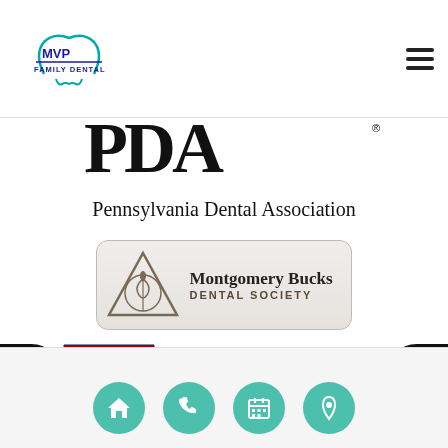[Figure (logo): MVP Family Dental logo in top left header]
[Figure (logo): Hamburger menu icon top right]
[Figure (logo): Pennsylvania Dental Association (PDA) logo with large PDA letters and full text]
[Figure (logo): Montgomery Bucks Dental Society logo in rounded rectangle box]
[Figure (logo): University of Pennsylvania Penn logo with shield]
[Figure (logo): SPEAR logo partially visible at bottom]
[Figure (logo): Accessibility icon bottom left]
[Figure (logo): Globe icon bottom right]
[Figure (infographic): Bottom navigation bar with four teal circles: home, phone, calendar, location pin icons]